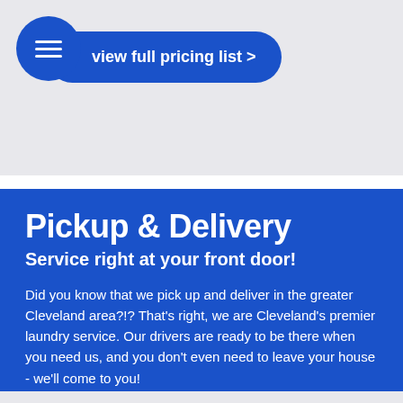[Figure (other): Hamburger menu button (blue circle with three white lines) and a blue rounded pill button labeled 'view full pricing list >']
Pickup & Delivery
Service right at your front door!
Did you know that we pick up and deliver in the greater Cleveland area?!? That's right, we are Cleveland's premier laundry service. Our drivers are ready to be there when you need us, and you don't even need to leave your house - we'll come to you!